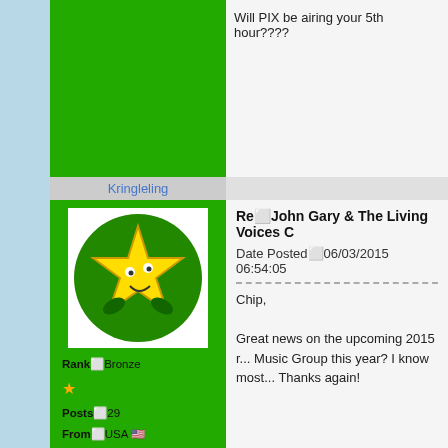Will PIX be airing your 5th hour????
Kringleling
[Figure (illustration): Avatar image of a cartoon yellow star character with a smiley face on a green circular background]
Rank: Bronze
Posts: 29
From: USA
Registered: 07/24/2009 04:08:32
Re: John Gary & The Living Voices C
Date Posted: 06/03/2015 06:54:05
Chip,

Great news on the upcoming 2015 r... Music Group this year? I know most... Thanks again!
Christmas Music Guru
owner
[Figure (photo): Dark photo of what appears to be a person or figure with firelight in background]
Re: John Gary & The Living Voices C
Date Posted: 06/03/2015 10:00:54